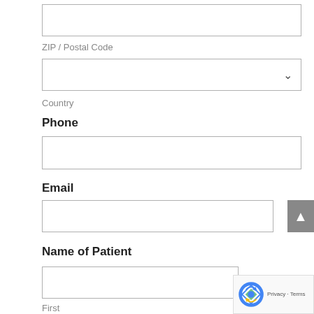ZIP / Postal Code
Country
Phone
Email
Name of Patient
First